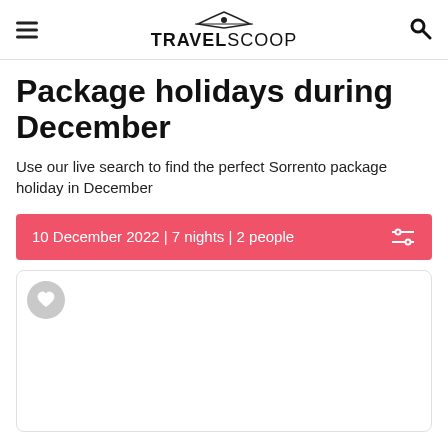TRAVELSCOOP
Package holidays during December
Use our live search to find the perfect Sorrento package holiday in December
10 December 2022 | 7 nights | 2 people
[Figure (other): Card placeholder with heart/favourite button, partially loaded]